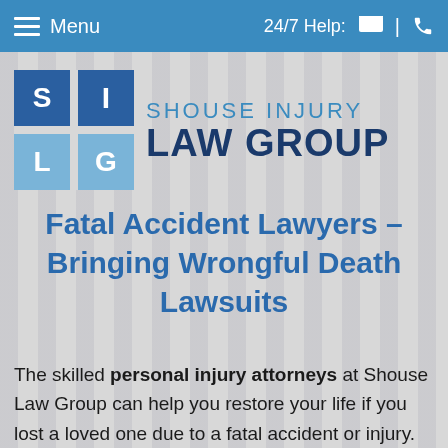Menu  |  24/7 Help:
[Figure (logo): Shouse Injury Law Group logo with blue SILG grid icon and company name]
Fatal Accident Lawyers – Bringing Wrongful Death Lawsuits
The skilled personal injury attorneys at Shouse Law Group can help you restore your life if you lost a loved one due to a fatal accident or injury. While we cannot bring your loved one back, we can provide you with the